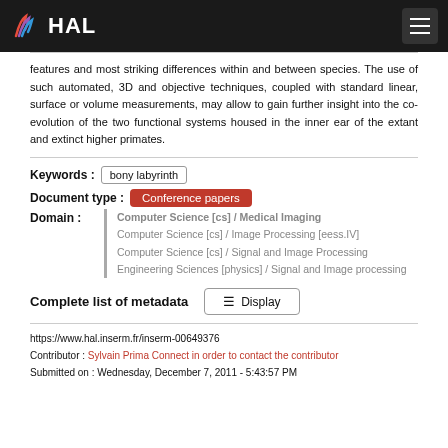HAL
features and most striking differences within and between species. The use of such automated, 3D and objective techniques, coupled with standard linear, surface or volume measurements, may allow to gain further insight into the co-evolution of the two functional systems housed in the inner ear of the extant and extinct higher primates.
Keywords : bony labyrinth
Document type : Conference papers
Domain : Computer Science [cs] / Medical Imaging
Computer Science [cs] / Image Processing [eess.IV]
Computer Science [cs] / Signal and Image Processing
Engineering Sciences [physics] / Signal and Image processing
Complete list of metadata   Display
https://www.hal.inserm.fr/inserm-00649376
Contributor : Sylvain Prima Connect in order to contact the contributor
Submitted on : Wednesday, December 7, 2011 - 5:43:57 PM